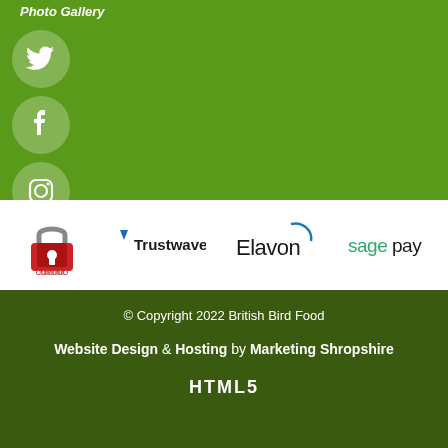Photo Gallery
[Figure (logo): Social media icons: Twitter, Facebook, Instagram in circular grey/white buttons on green background]
[Figure (logo): Trust badges strip: Comodo Secure, Trustwave, Elavon, Sage Pay logos on white background]
© Copyright 2022 British Bird Food
Website Design & Hosting by Marketing Shropshire
HTML5